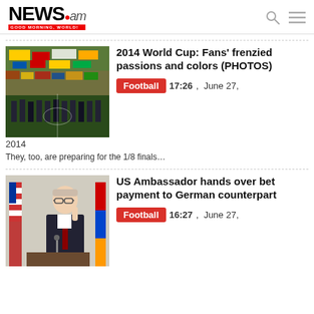NEWS.am GOOD MORNING, WORLD!
2014 World Cup: Fans' frenzied passions and colors (PHOTOS)
Football  17:26  ,  June 27, 2014
They, too, are preparing for the 1/8 finals…
US Ambassador hands over bet payment to German counterpart
Football  16:27  ,  June 27,